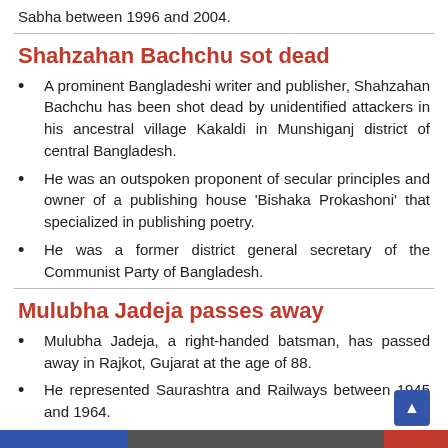Sabha between 1996 and 2004.
Shahzahan Bachchu sot dead
A prominent Bangladeshi writer and publisher, Shahzahan Bachchu has been shot dead by unidentified attackers in his ancestral village Kakaldi in Munshiganj district of central Bangladesh.
He was an outspoken proponent of secular principles and owner of a publishing house 'Bishaka Prokashoni' that specialized in publishing poetry.
He was a former district general secretary of the Communist Party of Bangladesh.
Mulubha Jadeja passes away
Mulubha Jadeja, a right-handed batsman, has passed away in Rajkot, Gujarat at the age of 88.
He represented Saurashtra and Railways between 1945 and 1964.
He played 31 first-class matches, scoring 1,373 runs with an average of 26.92.